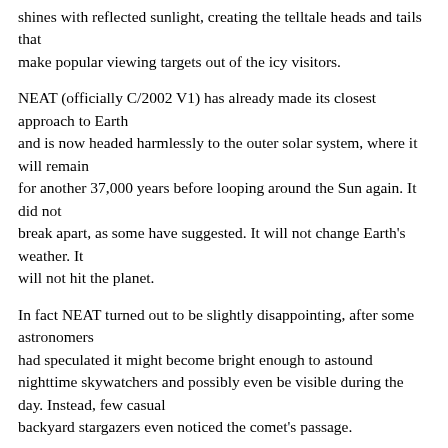shines with reflected sunlight, creating the telltale heads and tails that make popular viewing targets out of the icy visitors.
NEAT (officially C/2002 V1) has already made its closest approach to Earth and is now headed harmlessly to the outer solar system, where it will remain for another 37,000 years before looping around the Sun again. It did not break apart, as some have suggested. It will not change Earth's weather. It will not hit the planet.
In fact NEAT turned out to be slightly disappointing, after some astronomers had speculated it might become bright enough to astound nighttime skywatchers and possibly even be visible during the day. Instead, few casual backyard stargazers even noticed the comet's passage.
"The orbit of NEAT is pretty well understood, and it's on its way out, not in," said Philip Plait, an astronomer at Sonoma State University in California who writes about misinformation in astronomy in an